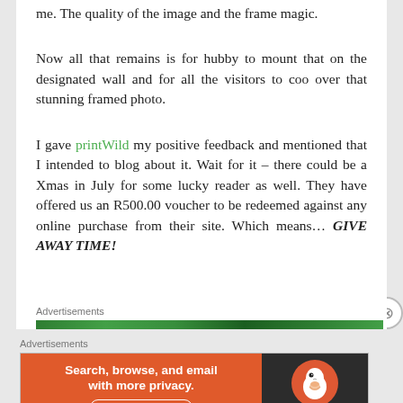me. The quality of the image and the frame magic.
Now all that remains is for hubby to mount that on the designated wall and for all the visitors to coo over that stunning framed photo.
I gave printWild my positive feedback and mentioned that I intended to blog about it. Wait for it – there could be a Xmas in July for some lucky reader as well. They have offered us an R500.00 voucher to be redeemed against any online purchase from their site. Which means… GIVE AWAY TIME!
Advertisements
[Figure (other): Green advertisement banner bar]
Advertisements
[Figure (other): DuckDuckGo advertisement banner: Search, browse, and email with more privacy. All in One Free App. DuckDuckGo logo on dark background.]